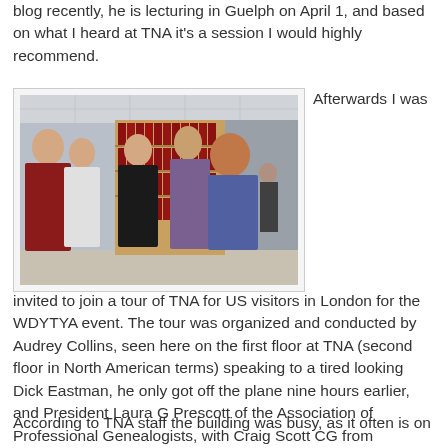blog recently, he is lecturing in Guelph on April 1, and based on what I heard at TNA it's a session I would highly recommend.
[Figure (photo): Group of five people standing and talking in a library or archive setting, with red binders on shelves in the background. Audrey Collins is speaking to Dick Eastman, with Laura G Prescott and Craig Scott CG also visible.]
Afterwards I was invited to join a tour of TNA for US visitors in London for the WDYTYA event. The tour was organized and conducted by Audrey Collins, seen here on the first floor at TNA (second floor in North American terms) speaking to a tired looking Dick Eastman, he only got off the plane nine hours earlier, and President Laura G Prescott of the Association of Professional Genealogists, with Craig Scott CG from Heritage Books, Inc looking on.
According to TNA staff the building was busy, as it often is on